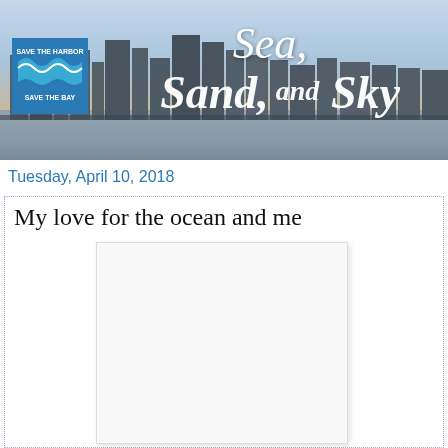[Figure (photo): Blog header banner showing Boston city skyline over harbor water at dusk with 'Sea, Sand, and Sky' title text in white script over a blue/golden sky. Save the Harbor Save the Bay logo in blue box at left.]
Tuesday, April 10, 2018
My love for the ocean and me
[Figure (photo): White/blank rectangular image placeholder within blog post content area]